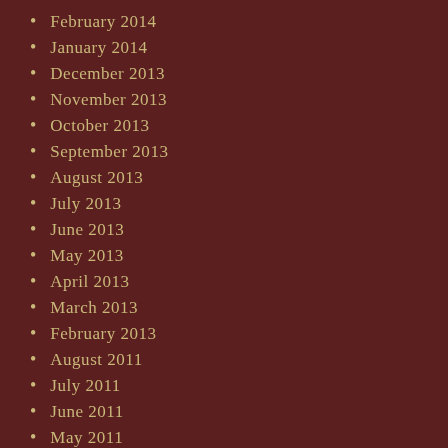February 2014
January 2014
December 2013
November 2013
October 2013
September 2013
August 2013
July 2013
June 2013
May 2013
April 2013
March 2013
February 2013
August 2011
July 2011
June 2011
May 2011
April 2011